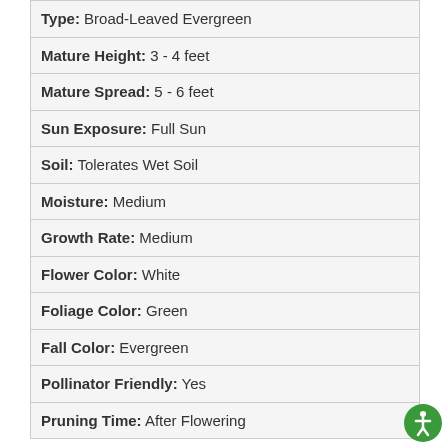| Type: | Broad-Leaved Evergreen |
| Mature Height: | 3 - 4 feet |
| Mature Spread: | 5 - 6 feet |
| Sun Exposure: | Full Sun |
| Soil: | Tolerates Wet Soil |
| Moisture: | Medium |
| Growth Rate: | Medium |
| Flower Color: | White |
| Foliage Color: | Green |
| Fall Color: | Evergreen |
| Pollinator Friendly: | Yes |
| Pruning Time: | After Flowering |